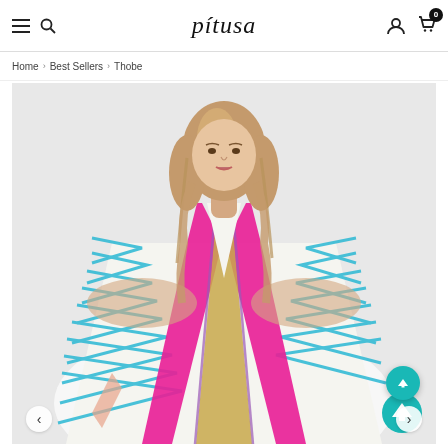pitusa — navigation header with hamburger menu, search, account, and cart (0 items)
Home › Best Sellers › Thobe
[Figure (photo): A blonde woman wearing a colorful kaftan/thobe with blue chevron patterns and bright pink and gold embroidered trim down the center V-neckline, on a light grey background. Product image for Pitusa Thobe.]